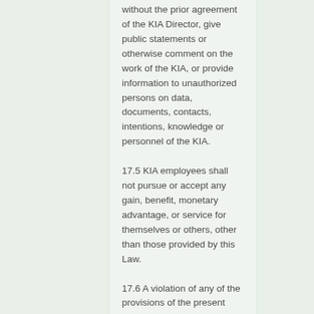without the prior agreement of the KIA Director, give public statements or otherwise comment on the work of the KIA, or provide information to unauthorized persons on data, documents, contacts, intentions, knowledge or personnel of the KIA.
17.5 KIA employees shall not pursue or accept any gain, benefit, monetary advantage, or service for themselves or others, other than those provided by this Law.
17.6 A violation of any of the provisions of the present Article or of this Law otherwise shall be considered grounds for suspension